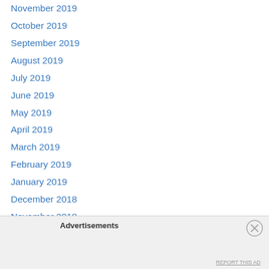November 2019
October 2019
September 2019
August 2019
July 2019
June 2019
May 2019
April 2019
March 2019
February 2019
January 2019
December 2018
November 2018
October 2018
September 2018
August 2018
Advertisements